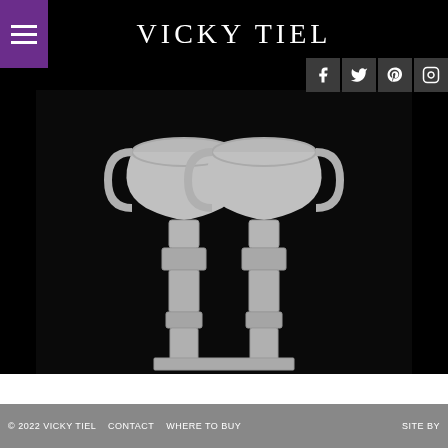VICKY TIEL
[Figure (photo): Two silver ornate trophy-style goblets or Shabbat candlesticks on a silver rectangular base, photographed against a black background]
© 2022 VICKY TIEL   CONTACT   WHERE TO BUY   SITE BY